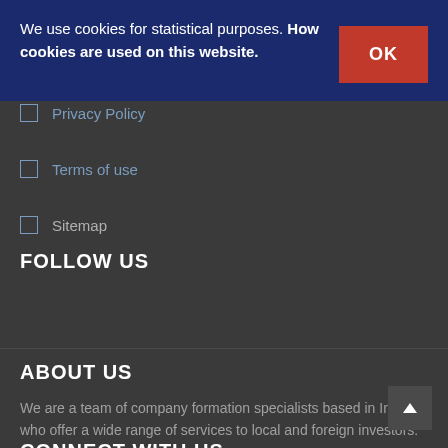We use cookies for statistical purposes. How cookies are used on this website.
Privacy Policy
Terms of use
Sitemap
FOLLOW US
ABOUT US
We are a team of company formation specialists based in Iran who offer a wide range of services to local and foreign investors.
CONNECT WITH US